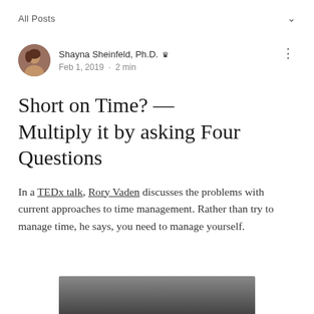All Posts
Shayna Sheinfeld, Ph.D. [crown icon]
Feb 1, 2019 · 2 min
Short on Time? — Multiply it by asking Four Questions
In a TEDx talk, Rory Vaden discusses the problems with current approaches to time management. Rather than try to manage time, he says, you need to manage yourself.
[Figure (photo): Dark image preview at bottom of page]